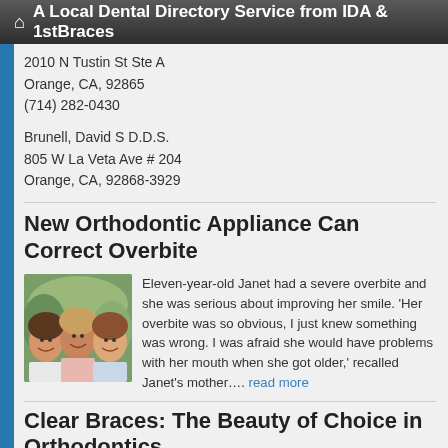A Local Dental Directory Service from IDA & 1stBraces
2010 N Tustin St Ste A
Orange, CA, 92865
(714) 282-0430
Brunell, David S D.D.S.
805 W La Veta Ave # 204
Orange, CA, 92868-3929
New Orthodontic Appliance Can Correct Overbite
[Figure (photo): Photo of three smiling girls/young women outdoors]
Eleven-year-old Janet had a severe overbite and she was serious about improving her smile. 'Her overbite was so obvious, I just knew something was wrong. I was afraid she would have problems with her mouth when she got older,' recalled Janet's mother.... read more
Clear Braces: The Beauty of Choice in Orthodontics